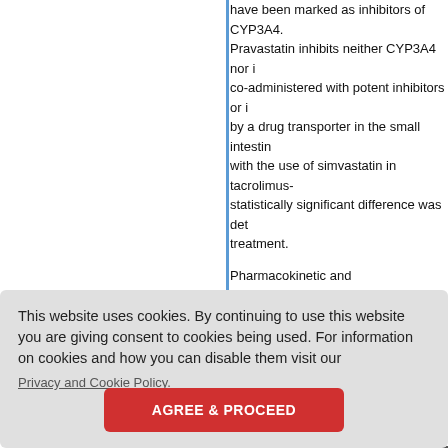have been marked as inhibitors of CYP3A4. Pravastatin inhibits neither CYP3A4 nor is co-administered with potent inhibitors or by a drug transporter in the small intestin with the use of simvastatin in tacrolimus- statistically significant difference was det treatment.
Pharmacokinetic and pharmacodynamic immunosuppression treatment have reve cholesterol without any clinically significa study, no statistically significant differenc aminotran ve role of s ant recipie raction be hepatic u of the trea sults empo d side effe ized by CY
This website uses cookies. By continuing to use this website you are giving consent to cookies being used. For information on cookies and how you can disable them visit our Privacy and Cookie Policy.
AGREE & PROCEED